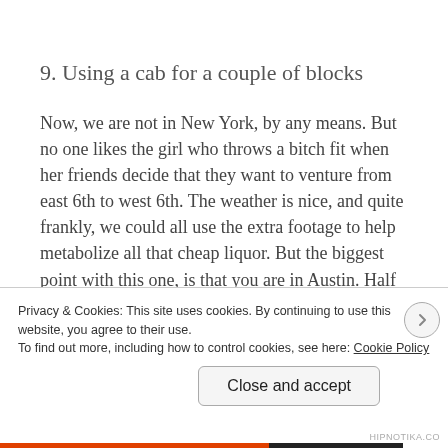9. Using a cab for a couple of blocks
Now, we are not in New York, by any means. But no one likes the girl who throws a bitch fit when her friends decide that they want to venture from east 6th to west 6th. The weather is nice, and quite frankly, we could all use the extra footage to help metabolize all that cheap liquor. But the biggest point with this one, is that you are in Austin. Half the people here probably run to their jobs
Privacy & Cookies: This site uses cookies. By continuing to use this website, you agree to their use.
To find out more, including how to control cookies, see here: Cookie Policy
Close and accept